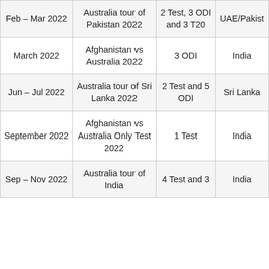| Feb – Mar 2022 | Australia tour of Pakistan 2022 | 2 Test, 3 ODI and 3 T20 | UAE/Pakistan |
| March 2022 | Afghanistan vs Australia 2022 | 3 ODI | India |
| Jun – Jul 2022 | Australia tour of Sri Lanka 2022 | 2 Test and 5 ODI | Sri Lanka |
| September 2022 | Afghanistan vs Australia Only Test 2022 | 1 Test | India |
| Sep – Nov 2022 | Australia tour of India | 4 Test and 3 | India |